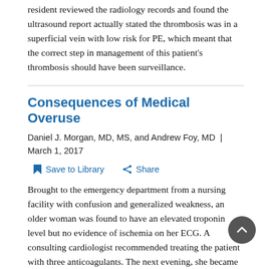resident reviewed the radiology records and found the ultrasound report actually stated the thrombosis was in a superficial vein with low risk for PE, which meant that the correct step in management of this patient's thrombosis should have been surveillance.
Consequences of Medical Overuse
Daniel J. Morgan, MD, MS, and Andrew Foy, MD | March 1, 2017
Save to Library   Share
Brought to the emergency department from a nursing facility with confusion and generalized weakness, an older woman was found to have an elevated troponin level but no evidence of ischemia on her ECG. A consulting cardiologist recommended treating the patient with three anticoagulants. The next evening, she became acutely confused and a